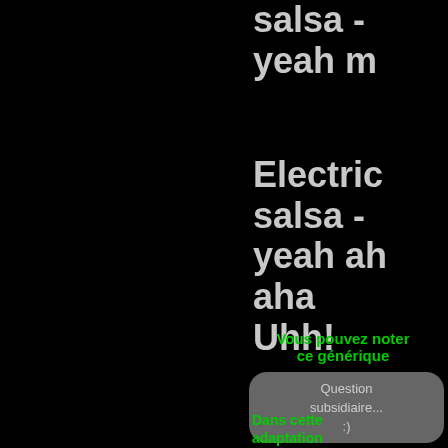salsa - yeah m
Electric salsa - yeah ah aha Uhh!
Vous pouvez noter ce générique
Question subsidiaire... :)
Dans cette adaptation étrange et post-